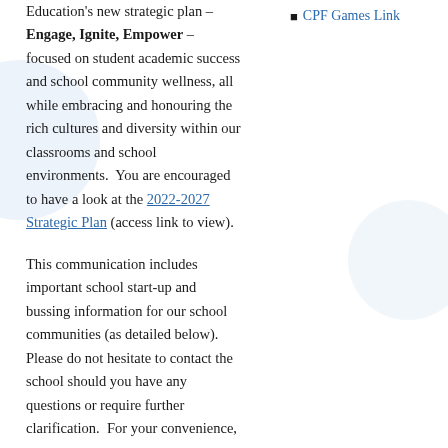Education's new strategic plan – Engage, Ignite, Empower – focused on student academic success and school community wellness, all while embracing and honouring the rich cultures and diversity within our classrooms and school environments.  You are encouraged to have a look at the 2022-2027 Strategic Plan (access link to view).
CPF Games Link
This communication includes important school start-up and bussing information for our school communities (as detailed below). Please do not hesitate to contact the school should you have any questions or require further clarification.  For your convenience,